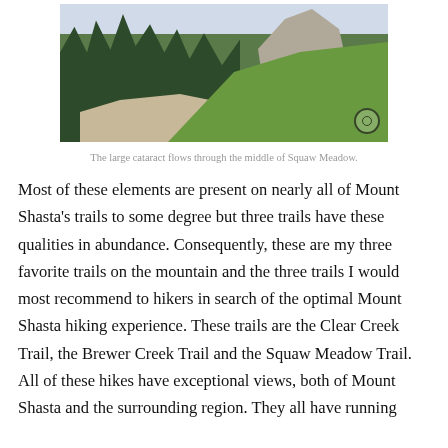[Figure (photo): A mountain trail scene with dark evergreen trees on the left, rocky terrain in the middle, and a green slope on the right, possibly showing a trail at Mount Shasta area.]
The large cataract flows through the middle of Squaw Meadow.
Most of these elements are present on nearly all of Mount Shasta's trails to some degree but three trails have these qualities in abundance. Consequently, these are my three favorite trails on the mountain and the three trails I would most recommend to hikers in search of the optimal Mount Shasta hiking experience. These trails are the Clear Creek Trail, the Brewer Creek Trail and the Squaw Meadow Trail. All of these hikes have exceptional views, both of Mount Shasta and the surrounding region. They all have running